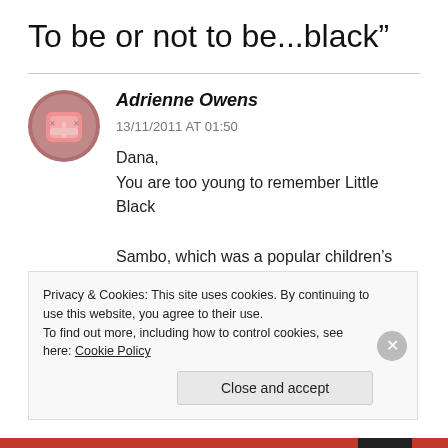To be or not to be...black”
Adrienne Owens
13/11/2011 AT 01:50
Dana,
You are too young to remember Little Black Sambo, which was a popular children’s
Privacy & Cookies: This site uses cookies. By continuing to use this website, you agree to their use.
To find out more, including how to control cookies, see here: Cookie Policy
Close and accept